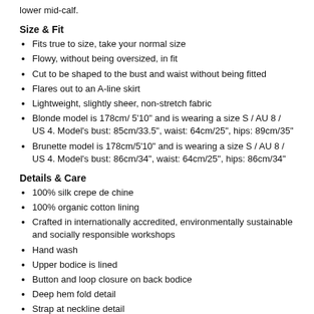lower mid-calf.
Size & Fit
Fits true to size, take your normal size
Flowy, without being oversized, in fit
Cut to be shaped to the bust and waist without being fitted
Flares out to an A-line skirt
Lightweight, slightly sheer, non-stretch fabric
Blonde model is 178cm/ 5'10" and is wearing a size S / AU 8 / US 4. Model's bust: 85cm/33.5", waist: 64cm/25", hips: 89cm/35"
Brunette model is 178cm/5'10" and is wearing a size S / AU 8 / US 4. Model's bust: 86cm/34", waist: 64cm/25", hips: 86cm/34"
Details & Care
100% silk crepe de chine
100% organic cotton lining
Crafted in internationally accredited, environmentally sustainable and socially responsible workshops
Hand wash
Upper bodice is lined
Button and loop closure on back bodice
Deep hem fold detail
Strap at neckline detail